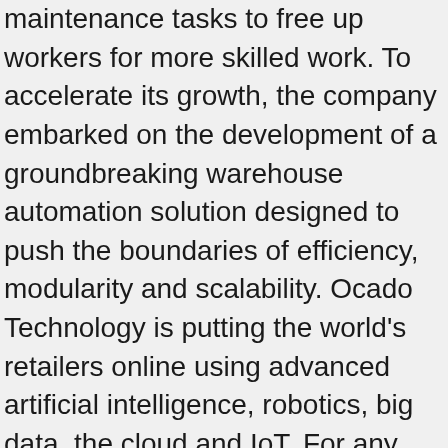maintenance tasks to free up workers for more skilled work. To accelerate its growth, the company embarked on the development of a groundbreaking warehouse automation solution designed to push the boundaries of efficiency, modularity and scalability. Ocado Technology is putting the world's retailers online using advanced artificial intelligence, robotics, big data, the cloud and IoT. For any press/media requests, please get in touch via the following contacts: Ocado Press Office Didn't have much about about my resume as well as my background. Do Not Sell My Personal Info, Sign up for Computer Weekly's daily email, Datacentre backup power and power distribution, Secure Coding and Application Programming, Data Breach Incident Management and Recovery, Compliance Regulation and Standard Requirements, Telecoms networks and broadband communications, intending to carry on doing so once it is over, even had to pull its website at one point, try to